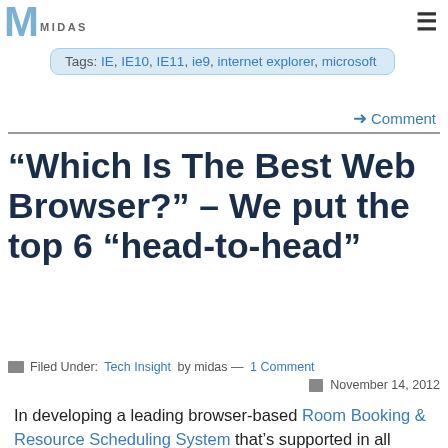MIDAS
Tags: IE, IE10, IE11, ie9, internet explorer, microsoft
➔ Comment
“Which Is The Best Web Browser?” – We put the top 6 “head-to-head”
Filed Under: Tech Insight by midas — 1 Comment  November 14, 2012
In developing a leading browser-based Room Booking & Resource Scheduling System that’s supported in all major browsers, we often get asked, “Which is